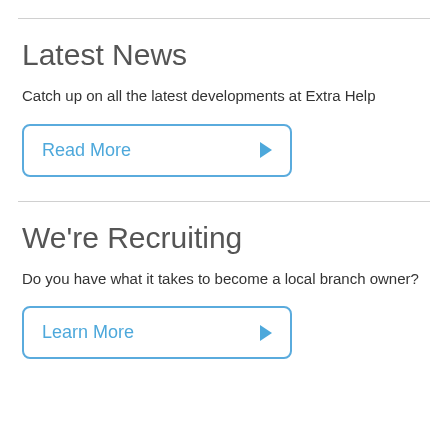Latest News
Catch up on all the latest developments at Extra Help
Read More
We're Recruiting
Do you have what it takes to become a local branch owner?
Learn More